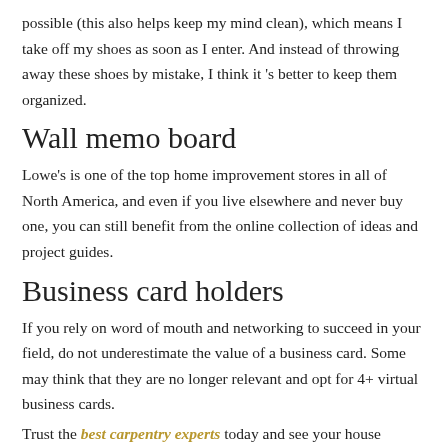possible (this also helps keep my mind clean), which means I take off my shoes as soon as I enter. And instead of throwing away these shoes by mistake, I think it ‘s better to keep them organized.
Wall memo board
Lowe’s is one of the top home improvement stores in all of North America, and even if you live elsewhere and never buy one, you can still benefit from the online collection of ideas and project guides.
Business card holders
If you rely on word of mouth and networking to succeed in your field, do not underestimate the value of a business card. Some may think that they are no longer relevant and opt for 4+ virtual business cards.
Trust the best carpentry experts today and see your house getting transformed!